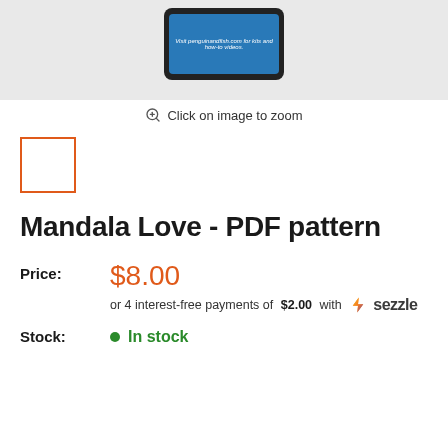[Figure (screenshot): Product image area showing a phone mockup on a gray background]
Click on image to zoom
[Figure (photo): Small thumbnail box with orange border (selected state)]
Mandala Love - PDF pattern
Price: $8.00
or 4 interest-free payments of $2.00 with Sezzle
Stock: In stock